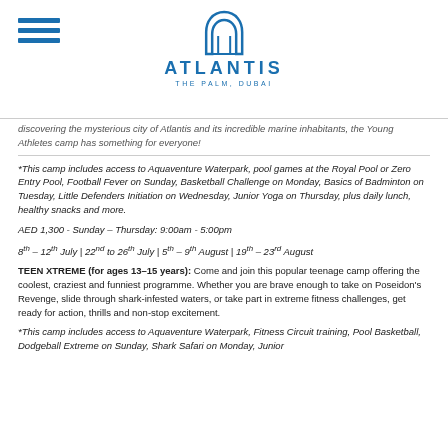[Figure (logo): Atlantis The Palm, Dubai logo with arch icon in blue]
discovering the mysterious city of Atlantis and its incredible marine inhabitants, the Young Athletes camp has something for everyone!
*This camp includes access to Aquaventure Waterpark, pool games at the Royal Pool or Zero Entry Pool, Football Fever on Sunday, Basketball Challenge on Monday, Basics of Badminton on Tuesday, Little Defenders Initiation on Wednesday, Junior Yoga on Thursday, plus daily lunch, healthy snacks and more.
AED 1,300 - Sunday – Thursday: 9:00am - 5:00pm
8th – 12th July | 22nd to 26th July | 5th – 9th August | 19th – 23rd August
TEEN XTREME (for ages 13–15 years): Come and join this popular teenage camp offering the coolest, craziest and funniest programme. Whether you are brave enough to take on Poseidon's Revenge, slide through shark-infested waters, or take part in extreme fitness challenges, get ready for action, thrills and non-stop excitement.
*This camp includes access to Aquaventure Waterpark, Fitness Circuit training, Pool Basketball, Dodgeball Extreme on Sunday, Shark Safari on Monday, Junior…